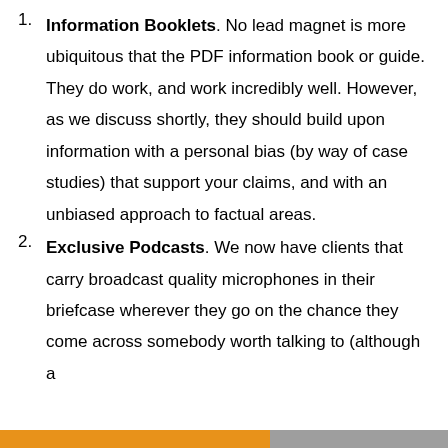Information Booklets. No lead magnet is more ubiquitous that the PDF information book or guide. They do work, and work incredibly well. However, as we discuss shortly, they should build upon information with a personal bias (by way of case studies) that support your claims, and with an unbiased approach to factual areas.
Exclusive Podcasts. We now have clients that carry broadcast quality microphones in their briefcase wherever they go on the chance they come across somebody worth talking to (although a